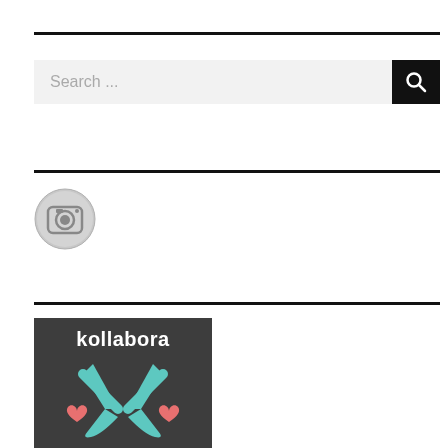[Figure (other): Horizontal black divider line]
[Figure (screenshot): Search bar with text 'Search ...' and a black search button with magnifying glass icon]
[Figure (other): Horizontal black divider line]
[Figure (logo): Instagram camera icon in gray circle]
[Figure (other): Horizontal black divider line]
[Figure (logo): Kollabora logo on dark background with teal scissors and pink hearts]